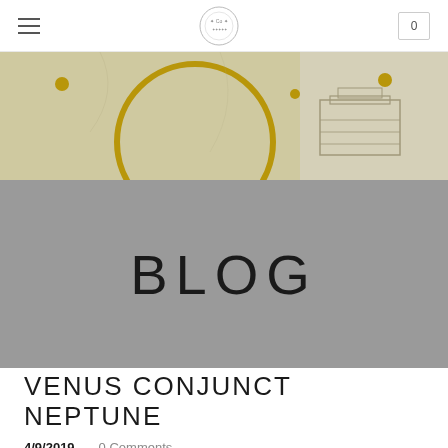Navigation header with hamburger menu, logo, and cart (0)
[Figure (illustration): Decorative banner image showing an antique astronomical or alchemical illustration with a golden circle/ring and ornamental details on a parchment-colored background]
BLOG
VENUS CONJUNCT NEPTUNE
4/9/2019    0 Comments